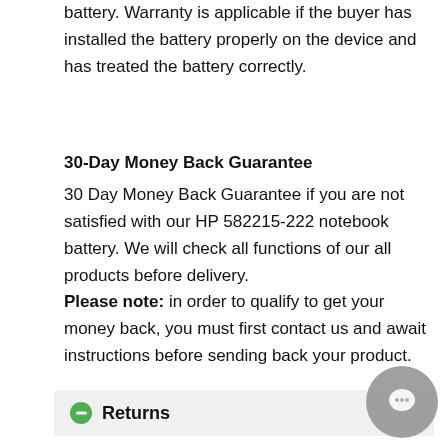battery. Warranty is applicable if the buyer has installed the battery properly on the device and has treated the battery correctly.
30-Day Money Back Guarantee
30 Day Money Back Guarantee if you are not satisfied with our HP 582215-222 notebook battery. We will check all functions of our all products before delivery. Please note: in order to qualify to get your money back, you must first contact us and await instructions before sending back your product.
Returns
If there is any problem with the battery you purchased from us, please contact us first. We will proceed your request and seek solutions to your problem. If our technical engineer cannot solve the problem, we will generate the RMA number for you (Return Merchandise Authorization) so that you can return the battery to us. If test result indicates that the